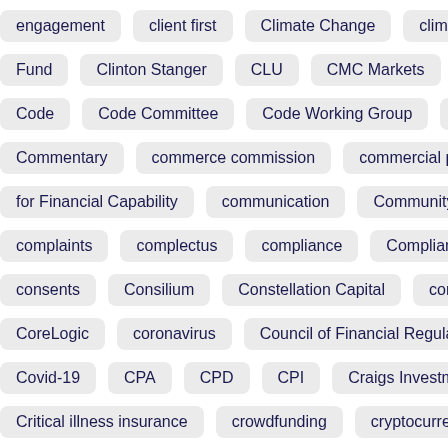engagement
client first
Climate Change
climate risk report
Fund
Clinton Stanger
CLU
CMC Markets
co-op money
Code
Code Committee
Code Working Group
CoFI
Co
Commentary
commerce commission
commercial property
for Financial Capability
communication
Community Finance
complaints
complectus
compliance
Compliance Refinery
consents
Consilium
Constellation Capital
construction
CoreLogic
coronavirus
Council of Financial Regulators
co
Covid-19
CPA
CPD
CPI
Craigs Investment Partners
Critical illness insurance
crowdfunding
cryptocurrency
CU
Conduct
Curated Risk
currency
custody
Customer Out